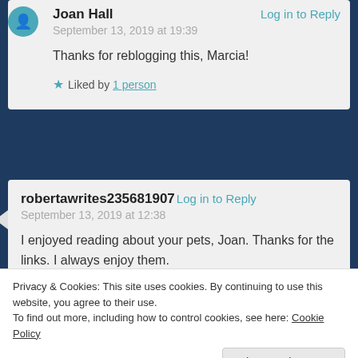Joan Hall — Log in to Reply
September 13, 2019 at 19:39
Thanks for reblogging this, Marcia!
★ Liked by 1 person
robertawrites235681907 — Log in to Reply
September 13, 2019 at 12:38
I enjoyed reading about your pets, Joan. Thanks for the links. I always enjoy them.
Privacy & Cookies: This site uses cookies. By continuing to use this website, you agree to their use.
To find out more, including how to control cookies, see here: Cookie Policy
September 13, 2019 at 13:13